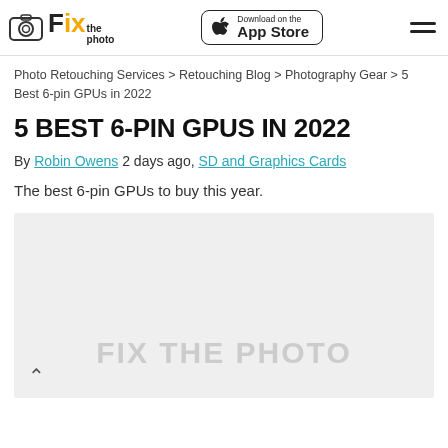Fix the photo | Download on the App Store
Photo Retouching Services > Retouching Blog > Photography Gear > 5 Best 6-pin GPUs in 2022
5 BEST 6-PIN GPUS IN 2022
By Robin Owens 2 days ago, SD and Graphics Cards
The best 6-pin GPUs to buy this year.
[Figure (photo): Placeholder image with FIX THE PHOTO watermark text on a light grey background]